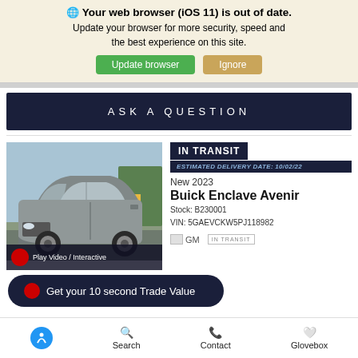Your web browser (iOS 11) is out of date. Update your browser for more security, speed and the best experience on this site.
Update browser | Ignore
ASK A QUESTION
[Figure (photo): Silver/grey Buick Enclave Avenir SUV parked in a lot, front 3/4 view]
IN TRANSIT
ESTIMATED DELIVERY DATE: 10/02/22
New 2023
Buick Enclave Avenir
Stock: B230001
VIN: 5GAEVCKW5PJ118982
Play Video / Interactive
Get your 10 second Trade Value
Search   Contact   Glovebox